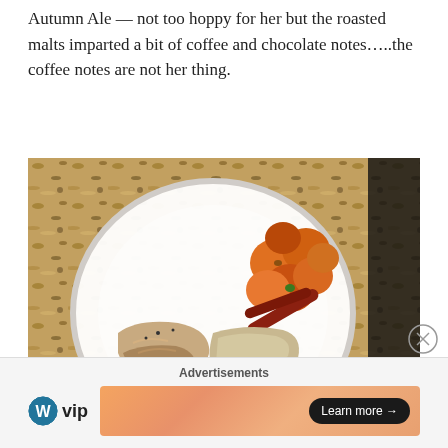Autumn Ale — not too hoppy for her but the roasted malts imparted a bit of coffee and chocolate notes…..the coffee notes are not her thing.
[Figure (photo): A white scalloped plate on a granite countertop with roasted carrots (orange, glazed), what appears to be grilled fish or chicken fillets, and a side of hummus or mashed chickpeas. A watermark reading 'Profile' is visible in the bottom right corner.]
Advertisements
[Figure (logo): WordPress VIP logo — WordPress circle icon followed by 'vip' text]
[Figure (other): Advertisement banner with gradient orange/pink background and a 'Learn more →' button]